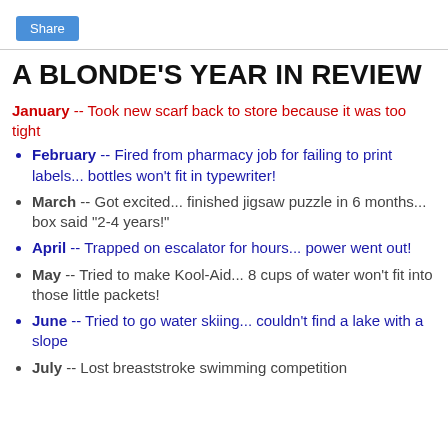Share
A BLONDE'S YEAR IN REVIEW
January -- Took new scarf back to store because it was too tight
February -- Fired from pharmacy job for failing to print labels... bottles won't fit in typewriter!
March -- Got excited... finished jigsaw puzzle in 6 months... box said "2-4 years!"
April -- Trapped on escalator for hours... power went out!
May -- Tried to make Kool-Aid... 8 cups of water won't fit into those little packets!
June -- Tried to go water skiing... couldn't find a lake with a slope
July -- Lost breaststroke swimming competition